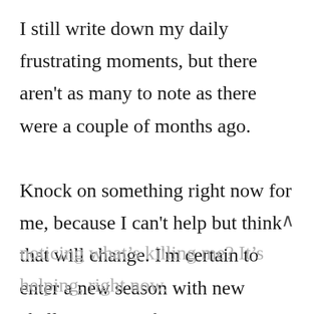I still write down my daily frustrating moments, but there aren't as many to note as there were a couple of months ago.

Knock on something right now for me, because I can't help but think that will change. I'm certain to enter a new season with new challenges, new frustrations
noticing what's killing me? It's helping, right now.